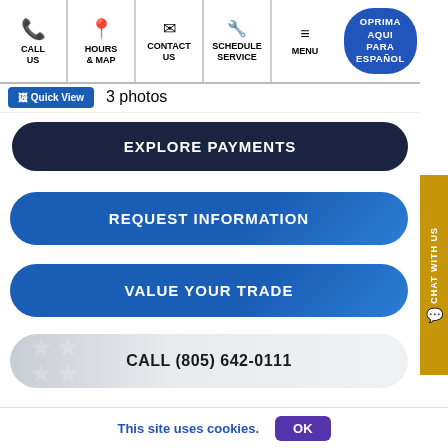CALL US | HOURS & MAP | CONTACT US | SCHEDULE SERVICE | MENU | OPRIMA AQUI PARA ESPAÑOL
Quick View   3 photos
EXPLORE PAYMENTS
REQUEST INFORMATION
VALUE YOUR TRADE
CALL (805) 642-0111
Chat With Us
This site uses cookies.   OK